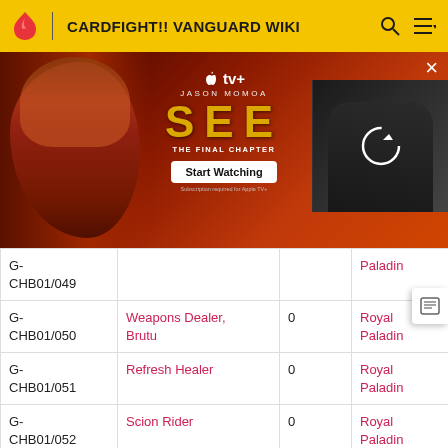CARDFIGHT!! VANGUARD WIKI
[Figure (screenshot): Apple TV+ advertisement banner for 'SEE: The Final Chapter' featuring Jason Momoa with a 'Start Watching' button and a video thumbnail with refresh icon]
| Card ID | Card Name | Value | Clan | Extra |
| --- | --- | --- | --- | --- |
| G-CHB01/049 |  |  | Paladin |  |
| G-CHB01/050 | Weapons Dealer, Brutu | 0 | Royal Paladin |  |
| G-CHB01/051 | Refresh Healer | 0 | Royal Paladin | H |
| G-CHB01/052 | Scion Rider | 0 | Royal Paladin | C |
| G-CHB01/053 | Encourage Angel | 0 | Royal Paladin | S |